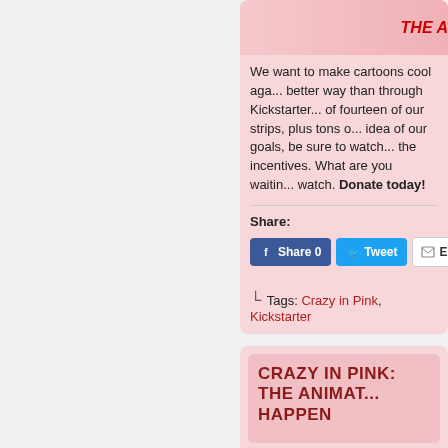[Figure (illustration): Cartoon characters illustration with 'THE A' text in red on pink background]
We want to make cartoons cool aga... better way than through Kickstarter... of fourteen of our strips, plus tons o... idea of our goals, be sure to watch... the incentives. What are you waitin... watch. Donate today!
Share:
Share 0   Tweet   Em...
Tags: Crazy in Pink, Kickstarter
CRAZY IN PINK: THE ANIMAT... HAPPEN
By Kim Belding on February 2, 2014 at...
Posted In: Blog